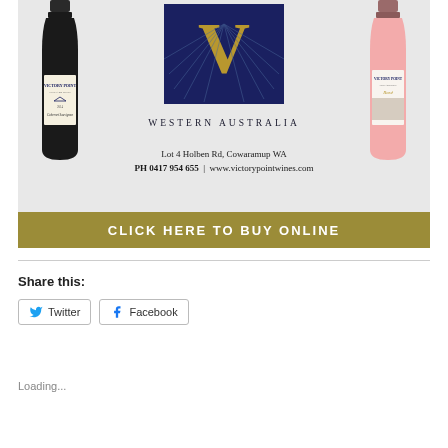[Figure (photo): Victory Point Wines advertisement banner with two wine bottles (red and rose), central logo with gold V on navy background, text 'WESTERN AUSTRALIA', address and website details, and gold 'CLICK HERE TO BUY ONLINE' call-to-action bar]
Share this:
Twitter
Facebook
Loading...